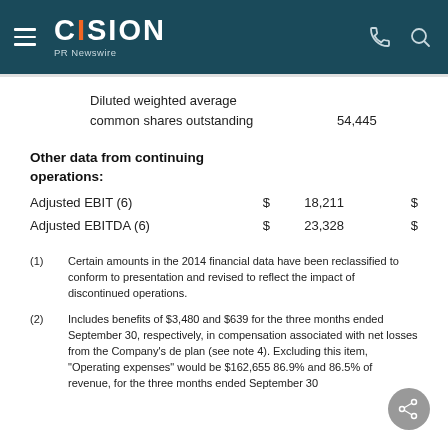CISION PR Newswire
Diluted weighted average common shares outstanding    54,445
Other data from continuing operations:
|  | $ |  | $ |
| --- | --- | --- | --- |
| Adjusted EBIT (6) | $ | 18,211 | $ |
| Adjusted EBITDA (6) | $ | 23,328 | $ |
(1)  Certain amounts in the 2014 financial data have been reclassified to conform to presentation and revised to reflect the impact of discontinued operations.
(2)  Includes benefits of $3,480 and $639 for the three months ended September 30, respectively, in compensation associated with net losses from the Company's deferred plan (see note 4). Excluding this item, "Operating expenses" would be $162,655 86.9% and 86.5% of revenue, for the three months ended September 30